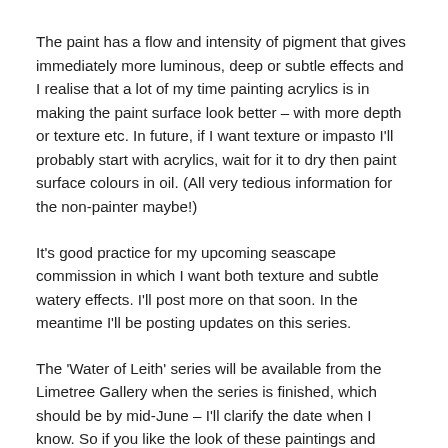The paint has a flow and intensity of pigment that gives immediately more luminous, deep or subtle effects and I realise that a lot of my time painting acrylics is in making the paint surface look better – with more depth or texture etc. In future, if I want texture or impasto I'll probably start with acrylics, wait for it to dry then paint surface colours in oil. (All very tedious information for the non-painter maybe!)
It's good practice for my upcoming seascape commission in which I want both texture and subtle watery effects. I'll post more on that soon. In the meantime I'll be posting updates on this series.
The 'Water of Leith' series will be available from the Limetree Gallery when the series is finished, which should be by mid-June – I'll clarify the date when I know. So if you like the look of these paintings and would like to reserve one,